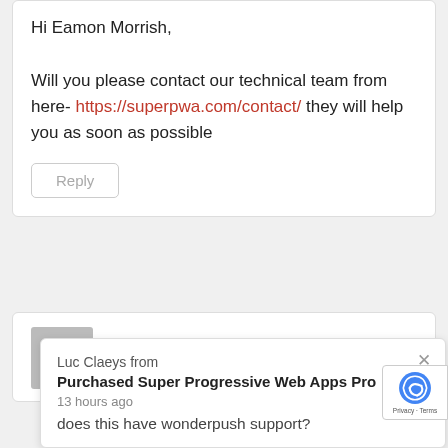Hi Eamon Morrish,

Will you please contact our technical team from here- https://superpwa.com/contact/ they will help you as soon as possible
Reply
Michael says:
Luc Claeys from
Purchased Super Progressive Web Apps Pro
13 hours ago
does this have wonderpush support?